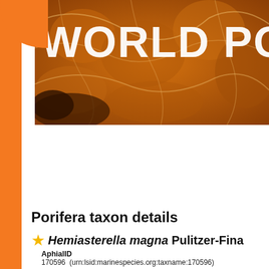[Figure (photo): World Porifera Database website header banner with orange sponge texture background and large white bold text reading WORLD PORI]
Intro
Species
Specimens
Distribution
Checklist
Sources
Log in
Porifera taxon details
Hemiasterella magna Pulitzer-Fina
AphialID
170596  (urn:lsid:marinespecies.org:taxname:170596)
Classification
Biota > ★ Animalia (Kingdom) > ★ Porifera (Phylum) > ★ Demos > ★ Heteroscleromorpha (Subclass) > ★ Tethyida (Order) > ★ H > ★ Hemiasterella magna (Species)
Status
accepted
Rank